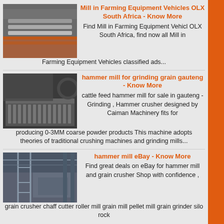[Figure (photo): Industrial machinery or conveyor belt equipment with orange components]
Mill in Farming Equipment Vehicles OLX South Africa - Know More
Find Mill in Farming Equipment Vehicl OLX South Africa, find now all Mill in Farming Equipment Vehicles classified ads...
[Figure (photo): Industrial hammer mill or grinding machine on factory floor]
hammer mill for grinding grain gauteng - Know More
cattle feed hammer mill for sale in gauteng - Grinding , Hammer crusher designed by Caiman Machinery fits for producing 0-3MM coarse powder products This machine adopts theories of traditional crushing machines and grinding mills...
[Figure (photo): Large industrial building interior with scaffolding and machinery]
hammer mill eBay - Know More
Find great deals on eBay for hammer mill and grain crusher Shop with confidence , grain crusher chaff cutter roller mill grain mill pellet mill grain grinder silo rock